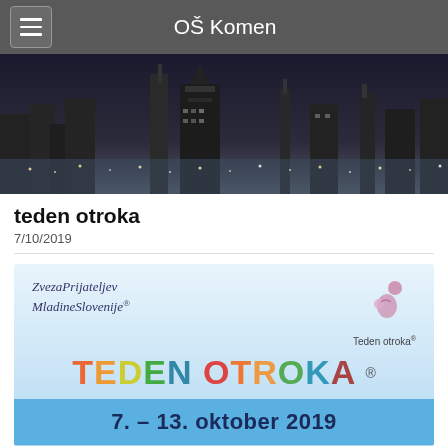OŠ Komen
[Figure (photo): Black and white city skyline at night with skyscrapers and lights]
teden otroka
7/10/2019
[Figure (infographic): Teden otroka event flyer: ZvezaPrijateljev MladineSlovenijE logo top left, Teden otroka logo top right, TEDEN OTROKA colorful text in center, dates 7. – 13. oktober 2019 in bold below]